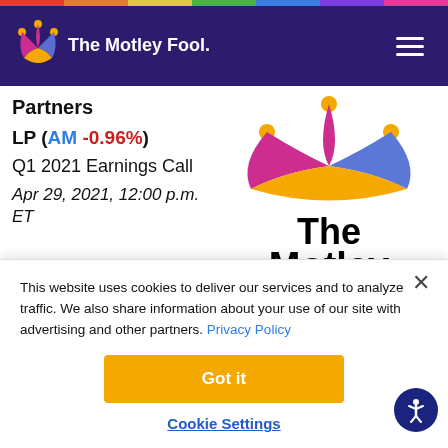The Motley Fool
Partners
LP (AM -0.96%)
Q1 2021 Earnings Call
Apr 29, 2021, 12:00 p.m. ET
[Figure (logo): The Motley Fool jester hat logo with text 'The Motley Fool' in large bold black font]
This website uses cookies to deliver our services and to analyze traffic. We also share information about your use of our site with advertising and other partners. Privacy Policy
Got it
Cookie Settings